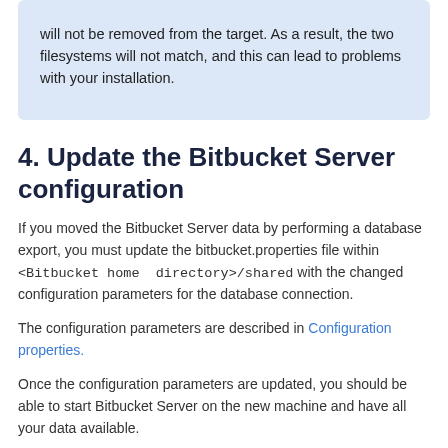will not be removed from the target. As a result, the two filesystems will not match, and this can lead to problems with your installation.
4. Update the Bitbucket Server configuration
If you moved the Bitbucket Server data by performing a database export, you must update the bitbucket.properties file within <Bitbucket home directory>/shared with the changed configuration parameters for the database connection.
The configuration parameters are described in Configuration properties.
Once the configuration parameters are updated, you should be able to start Bitbucket Server on the new machine and have all your data available.